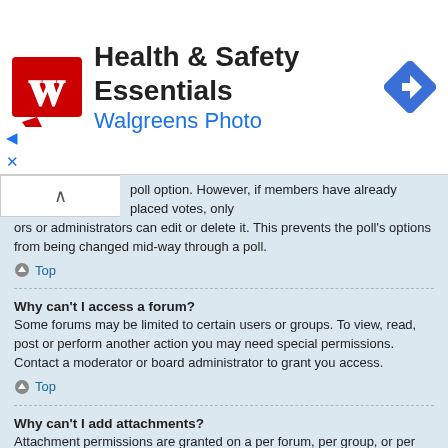[Figure (other): Walgreens advertisement banner with logo, Health & Safety Essentials title, Walgreens Photo subtitle, navigation icon, and arrow controls]
poll option. However, if members have already placed votes, only ors or administrators can edit or delete it. This prevents the poll's options from being changed mid-way through a poll.
Top
Why can't I access a forum?
Some forums may be limited to certain users or groups. To view, read, post or perform another action you may need special permissions. Contact a moderator or board administrator to grant you access.
Top
Why can't I add attachments?
Attachment permissions are granted on a per forum, per group, or per user basis. The board administrator may not have allowed attachments to be added for the specific forum you are posting in, or perhaps only certain groups can post attachments. Contact the board administrator if you are unsure about why you are unable to add attachments.
Top